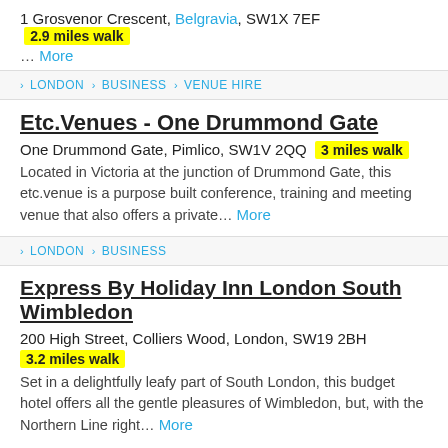1 Grosvenor Crescent, Belgravia, SW1X 7EF  2.9 miles walk
… More
> LONDON > BUSINESS > VENUE HIRE
Etc.Venues - One Drummond Gate
One Drummond Gate, Pimlico, SW1V 2QQ  3 miles walk
Located in Victoria at the junction of Drummond Gate, this etc.venue is a purpose built conference, training and meeting venue that also offers a private… More
> LONDON > BUSINESS
Express By Holiday Inn London South Wimbledon
200 High Street, Colliers Wood, London, SW19 2BH
3.2 miles walk
Set in a delightfully leafy part of South London, this budget hotel offers all the gentle pleasures of Wimbledon, but, with the Northern Line right… More